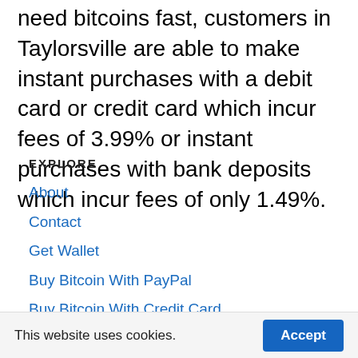need bitcoins fast, customers in Taylorsville are able to make instant purchases with a debit card or credit card which incur fees of 3.99% or instant purchases with bank deposits which incur fees of only 1.49%.
EXPLORE
About
Contact
Get Wallet
Buy Bitcoin With PayPal
Buy Bitcoin With Credit Card
This website uses cookies.